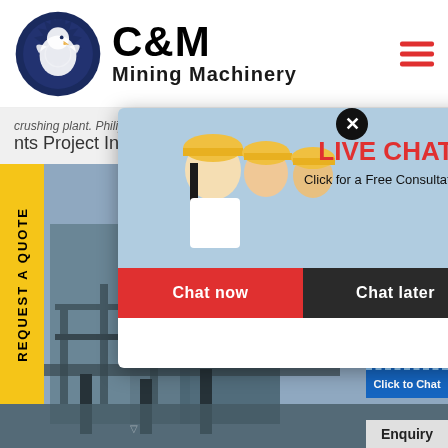[Figure (logo): C&M Mining Machinery logo with eagle gear emblem, company name in bold black text]
crushing plant. Philippines, MM Crusher Industry
nts Project Indonesia
REQUEST A QUOTE
[Figure (photo): Live chat popup overlay showing workers in yellow hard hats, LIVE CHAT heading in red, 'Click for a Free Consultation' text, Chat now (red) and Chat later (dark) buttons]
[Figure (photo): Right panel showing '24 Hours Online' banner in blue/red and support agent woman with headset]
Click to Chat
Enquiry